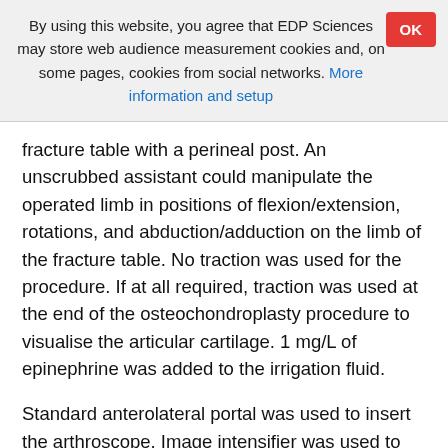By using this website, you agree that EDP Sciences may store web audience measurement cookies and, on some pages, cookies from social networks. More information and setup
fracture table with a perineal post. An unscrubbed assistant could manipulate the operated limb in positions of flexion/extension, rotations, and abduction/adduction on the limb of the fracture table. No traction was used for the procedure. If at all required, traction was used at the end of the osteochondroplasty procedure to visualise the articular cartilage. 1 mg/L of epinephrine was added to the irrigation fluid.
Standard anterolateral portal was used to insert the arthroscope. Image intensifier was used to confirm the position of the cannulated guide pin in the femoral head–neck area. A Nitinol wire was passed through the pin and the tract is dilated using dilators. Blunt trocar and a flow-sheath